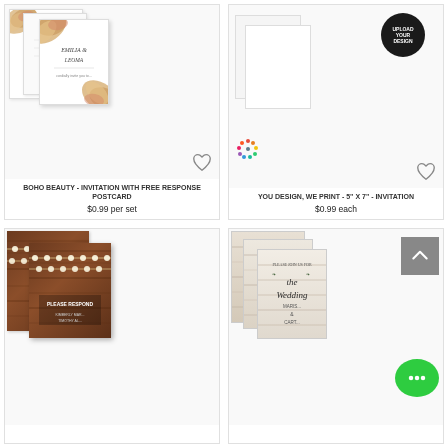[Figure (photo): Boho Beauty wedding invitation set with RSVP postcard, featuring watercolor pampas grass decorations]
BOHO BEAUTY - INVITATION WITH FREE RESPONSE POSTCARD
$0.99 per set
[Figure (photo): Upload Your Design custom invitation - blank white card with upload circle badge]
YOU DESIGN, WE PRINT - 5" X 7" - INVITATION
$0.99 each
[Figure (photo): Rustic wood wedding invitation set with string lights and PLEASE RESPOND card for KIMBERLY and TIMOTHY]
[Figure (photo): Farmhouse wood plank wedding invitation set with script text for 'the Wedding' with MARIS and CARTER names]